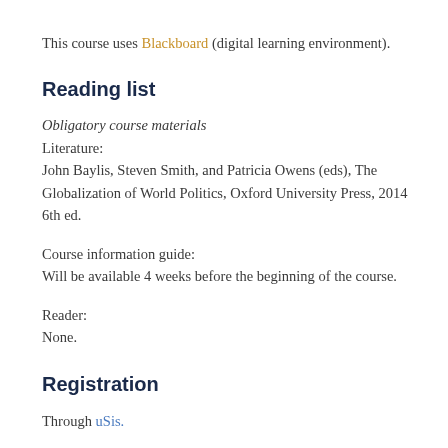This course uses Blackboard (digital learning environment).
Reading list
Obligatory course materials
Literature:
John Baylis, Steven Smith, and Patricia Owens (eds), The Globalization of World Politics, Oxford University Press, 2014 6th ed.
Course information guide:
Will be available 4 weeks before the beginning of the course.
Reader:
None.
Registration
Through uSis.